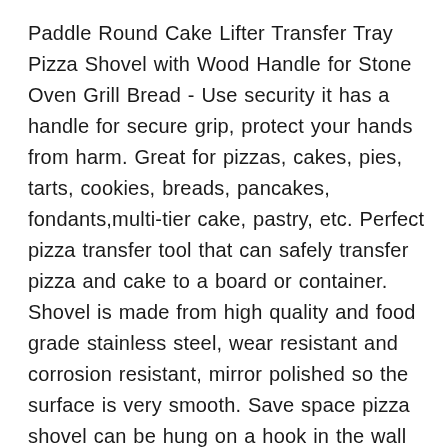Paddle Round Cake Lifter Transfer Tray Pizza Shovel with Wood Handle for Stone Oven Grill Bread - Use security it has a handle for secure grip, protect your hands from harm. Great for pizzas, cakes, pies, tarts, cookies, breads, pancakes, fondants,multi-tier cake, pastry, etc. Perfect pizza transfer tool that can safely transfer pizza and cake to a board or container. Shovel is made from high quality and food grade stainless steel, wear resistant and corrosion resistant, mirror polished so the surface is very smooth. Save space pizza shovel can be hung on a hook in the wall to save space in the kitchen dishwasher safe.